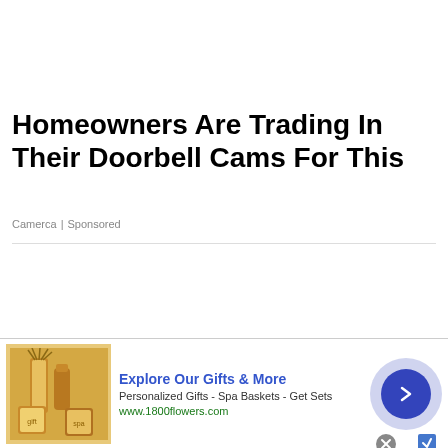Homeowners Are Trading In Their Doorbell Cams For This
Camerca | Sponsored
[Figure (screenshot): Advertisement banner: Explore Our Gifts & More - Personalized Gifts - Spa Baskets - Get Sets, www.1800flowers.com, with product image of gift sets and a blue arrow button]